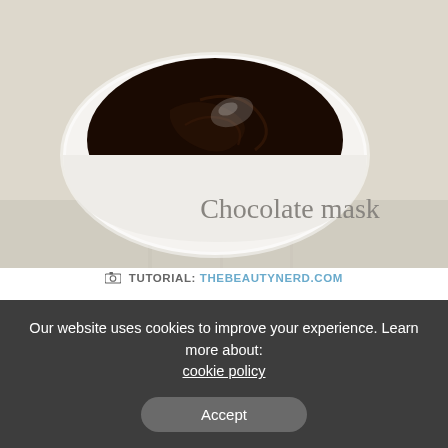[Figure (photo): A white bowl filled with dark chocolate mask paste on a light grey/cream surface, with text overlay 'Chocolate mask' in light grey serif font]
TUTORIAL: THEBEAUTYNERD.COM
Owing to flavanols, the raw cocoa powder may be used to improve skin protection. Flavanols minimize, while improving elasticity and hydration, the adverse effects of UV rays on the
Our website uses cookies to improve your experience. Learn more about: cookie policy
Accept